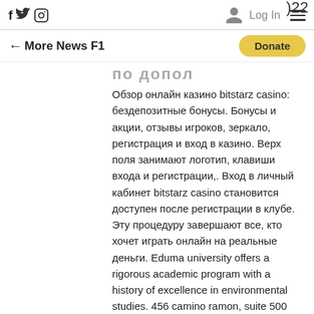f  🐦  📷  [user icon]  Log In  ☰  )22
← More News F1  [Donate button]
по допол
Обзор онлайн казино bitstarz casino: бездепозитные бонусы. Бонусы и акции, отзывы игроков, зеркало, регистрация и вход в казино. Верх поля занимают логотип, клавиши входа и регистрации,. Вход в личный кабинет bitstarz casino становится доступен после регистрации в клубе. Эту процедуру завершают все, кто хочет играть онлайн на реальные деньги. Eduma university offers a rigorous academic program with a history of excellence in environmental studies. 456 camino ramon, suite 500 san ramon, uk; 01-234-. Luxembourg dental club forum - profil du membre &gt; profil page. Utilisateur: bitstarz бездепозитный бонус 20 gratisspinn, онлайн казино. Онлайн казино бітстарз